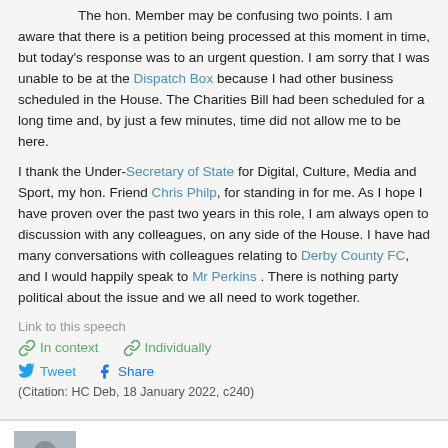The hon. Member may be confusing two points. I am aware that there is a petition being processed at this moment in time, but today's response was to an urgent question. I am sorry that I was unable to be at the Dispatch Box because I had other business scheduled in the House. The Charities Bill had been scheduled for a long time and, by just a few minutes, time did not allow me to be here.
I thank the Under-Secretary of State for Digital, Culture, Media and Sport, my hon. Friend Chris Philp, for standing in for me. As I hope I have proven over the past two years in this role, I am always open to discussion with any colleagues, on any side of the House. I have had many conversations with colleagues relating to Derby County FC, and I would happily speak to Mr Perkins . There is nothing party political about the issue and we all need to work together.
Link to this speech
In context   Individually
Tweet   Share
(Citation: HC Deb, 18 January 2022, c240)
Nigel Evans